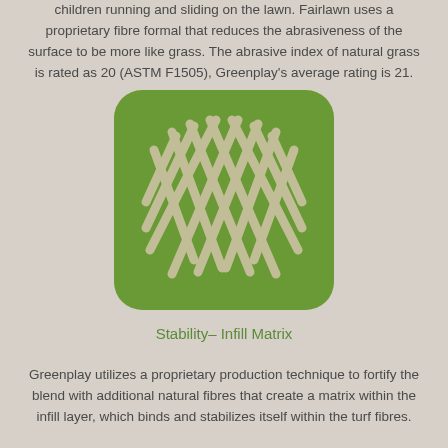children running and sliding on the lawn. Fairlawn uses a proprietary fibre formal that reduces the abrasiveness of the surface to be more like grass. The abrasive index of natural grass is rated as 20 (ASTM F1505), Greenplay's average rating is 21.
[Figure (illustration): Green rounded-square icon containing a woven/lattice pattern of diagonal crossing strands in a lighter beige/cream color, representing a turf infill matrix weave pattern.]
Stability– Infill Matrix
Greenplay utilizes a proprietary production technique to fortify the blend with additional natural fibres that create a matrix within the infill layer, which binds and stabilizes itself within the turf fibres.